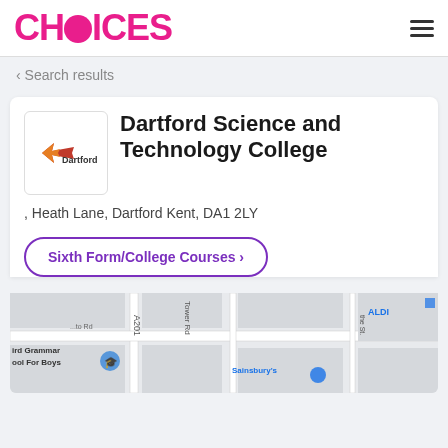CHOICES
< Search results
Dartford Science and Technology College
, Heath Lane, Dartford Kent, DA1 2LY
Sixth Form/College Courses >
[Figure (map): Street map showing area near Dartford Science and Technology College, with A201 road, Tower Rd, references to Dartford Grammar School For Boys, Sainsbury's, and ALDI visible.]